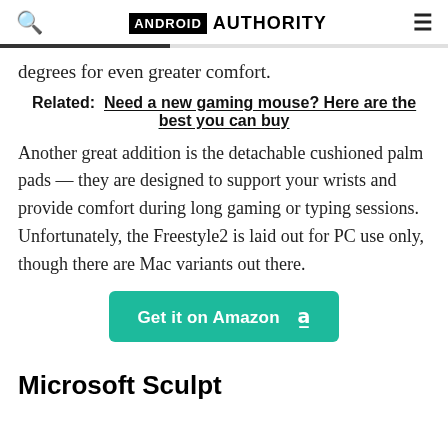ANDROID AUTHORITY
degrees for even greater comfort.
Related:  Need a new gaming mouse? Here are the best you can buy
Another great addition is the detachable cushioned palm pads — they are designed to support your wrists and provide comfort during long gaming or typing sessions. Unfortunately, the Freestyle2 is laid out for PC use only, though there are Mac variants out there.
Get it on Amazon
Microsoft Sculpt